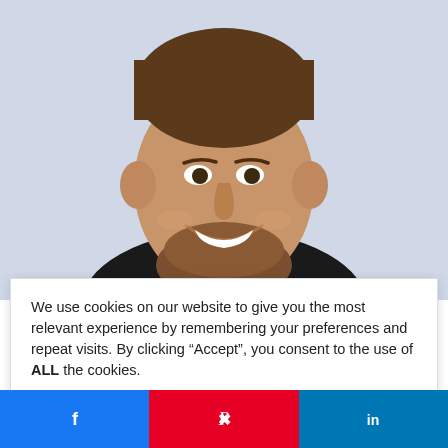[Figure (photo): Headshot of a smiling man with beard, wearing a dark suit jacket and blue shirt, cropped at top showing face and upper torso against white background.]
We use cookies on our website to give you the most relevant experience by remembering your preferences and repeat visits. By clicking “Accept”, you consent to the use of ALL the cookies.
Cookie settings  ACCEPT
How To Write Your Own Story (Even When You Don’t Know Where
[Figure (other): Social share bar with Facebook, Pinterest, and LinkedIn buttons]